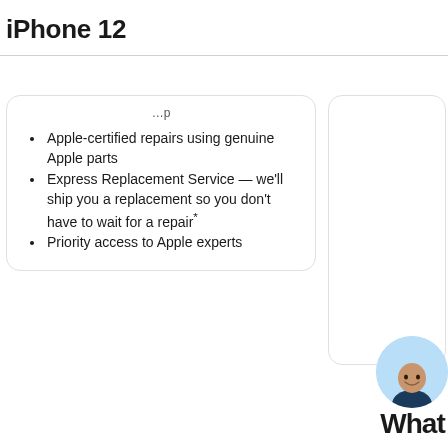iPhone 12
Apple-certified repairs using genuine Apple parts
Express Replacement Service — we'll ship you a replacement so you don't have to wait for a repair*
Priority access to Apple experts
[Figure (photo): Chat support widget showing a person photo in a light blue circle with the text 'What' partially visible]